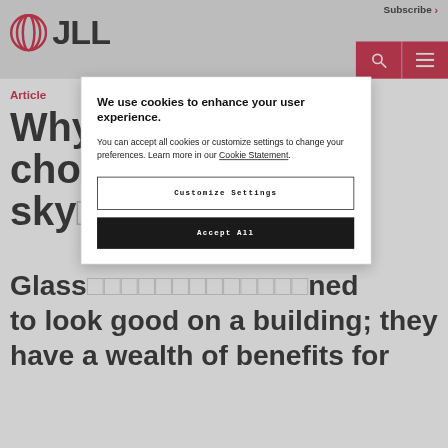Subscribe →
[Figure (logo): JLL logo with circular globe icon and bold JLL text]
[Figure (screenshot): Red search and hamburger menu buttons]
Article
Why ... op cho... sky...
Glass... ned to look good on a building; they have a wealth of benefits for
We use cookies to enhance your user experience. You can accept all cookies or customize settings to change your preferences. Learn more in our Cookie Statement.
Customize Settings
Accept All